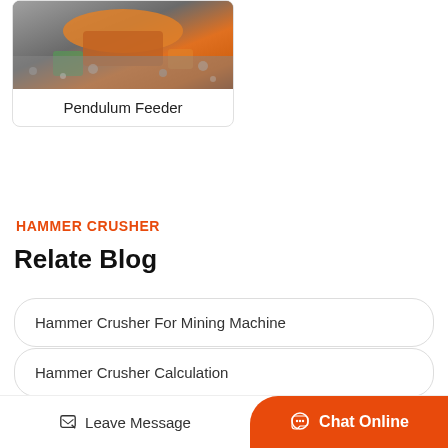[Figure (photo): Photo of an orange and grey construction/mining machine (Pendulum Feeder) on gravel ground]
Pendulum Feeder
HAMMER CRUSHER
Relate Blog
Hammer Crusher For Mining Machine
Hammer Crusher Calculation
Hammer Mill Sieve With Floors For Li Ne
Leave Message | Chat Online